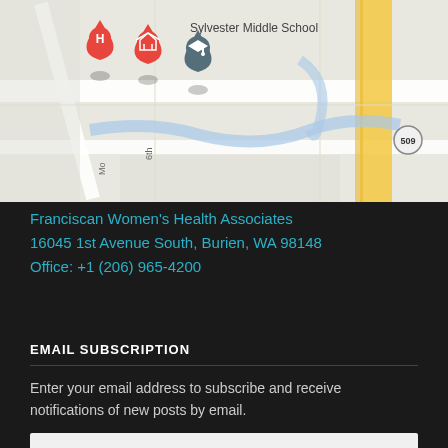[Figure (map): Google Maps view showing Sylvester Middle School, Happy Home Childcare, S 163rd Pl, route 509, and map pins including hospital/health markers in Burien, WA area]
Franciscan Women's Health Associates
16045 1st Avenue South, Burien, WA 98148
Office: +1 (206) 965-4200
EMAIL SUBSCRIPTION
Enter your email address to subscribe and receive notifications of new posts by email.